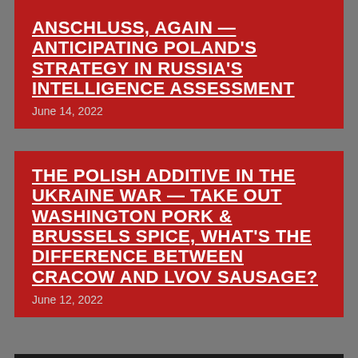ANSCHLUSS, AGAIN — ANTICIPATING POLAND'S STRATEGY IN RUSSIA'S INTELLIGENCE ASSESSMENT
June 14, 2022
THE POLISH ADDITIVE IN THE UKRAINE WAR — TAKE OUT WASHINGTON PORK & BRUSSELS SPICE, WHAT'S THE DIFFERENCE BETWEEN CRACOW AND LVOV SAUSAGE?
June 12, 2022
[Figure (photo): Dark/black rectangular image at the bottom of the page]